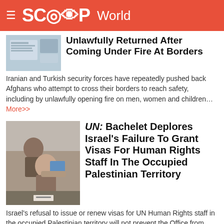SCOOP World
Unlawfully Returned After Coming Under Fire At Borders
Iranian and Turkish security forces have repeatedly pushed back Afghans who attempt to cross their borders to reach safety, including by unlawfully opening fire on men, women and children... More>>
UN: Bachelet Deplores Israel's Failure To Grant Visas For Human Rights Staff In The Occupied Palestinian Territory
Israel's refusal to issue or renew visas for UN Human Rights staff in the occupied Palestinian territory will not prevent the Office from continuing to monitor and report on the human rights situation on the ground... More>>
UN: Chile Referendum Presents